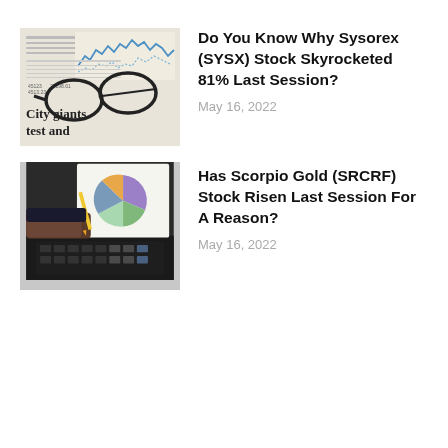[Figure (photo): Newspaper pages with financial charts and headlines, with glasses resting on top. Visible text includes 'City giants' and 'test and'.]
Do You Know Why Sysorex (SYSX) Stock Skyrocketed 81% Last Session?
May 16, 2022
[Figure (photo): Hands holding a pencil pointing at a colorful pie chart on paper, with a calculator visible on a dark desk surface.]
Has Scorpio Gold (SRCRF) Stock Risen Last Session For A Reason?
May 16, 2022